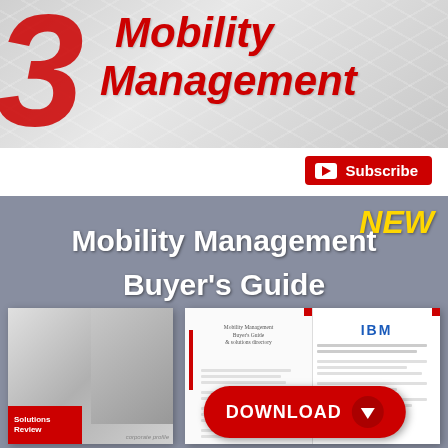[Figure (illustration): Magazine/publication header banner with large red italic '3' numeral and red italic text 'Mobility Management' on a gray geometric hexagon pattern background]
[Figure (logo): YouTube-style Subscribe button in red with play icon and 'Subscribe' text in white]
[Figure (illustration): Promotional advertisement block with gray background showing 'NEW' in yellow italic, 'Mobility Management Buyer's Guide' in white bold text, and images of a Solutions Review book cover and an open guide showing IBM, with a red Download button at bottom]